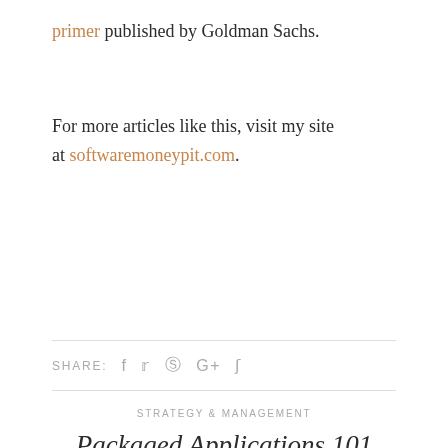primer published by Goldman Sachs.
For more articles like this, visit my site at softwaremoneypit.com.
SHARE: f  ☛  ⊕  G+  ∫
STRATEGY & MANAGEMENT
Packaged Applications 101
APRIL 23, 2015
BY MATT COOK
NO COMMENTS
[Figure (photo): Bottom strip showing book covers or images related to packaged applications]